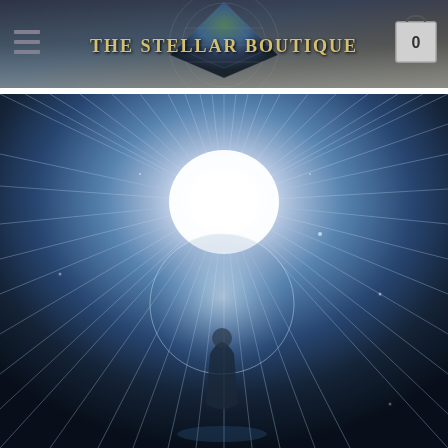[Figure (screenshot): Website header for The Stellar Boutique with logo, hamburger menu icon, and shopping cart showing 0 items. Background shows a geometric diamond/triangle shape with celestial imagery.]
[Figure (photo): A dramatic photo of a figure holding or inside a large crystal/glass sphere with intense white light radiating outward in rays against a dark blue-grey background, creating a starburst effect.]